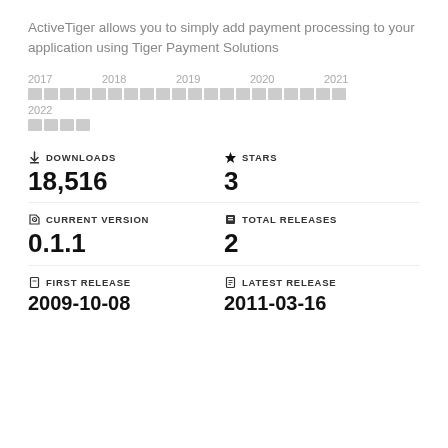ActiveTiger allows you to simply add payment processing to your application using Tiger Payment Solutions
[Figure (infographic): Activity timeline blocks spanning years 2017–2022, shown as small gray squares arranged in rows]
DOWNLOADS 18,516
STARS 3
CURRENT VERSION 0.1.1
TOTAL RELEASES 2
FIRST RELEASE 2009-10-08
LATEST RELEASE 2011-03-16